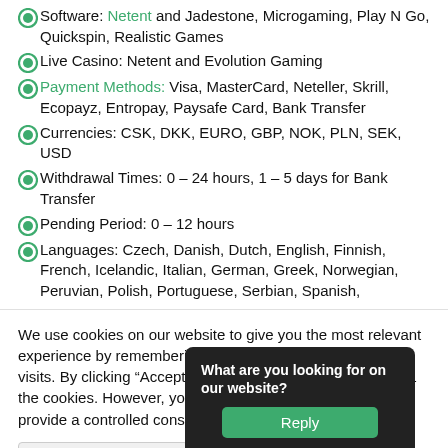Software: Netent and Jadestone, Microgaming, Play N Go, Quickspin, Realistic Games
Live Casino: Netent and Evolution Gaming
Payment Methods: Visa, MasterCard, Neteller, Skrill, Ecopayz, Entropay, Paysafe Card, Bank Transfer
Currencies: CSK, DKK, EURO, GBP, NOK, PLN, SEK, USD
Withdrawal Times: 0 – 24 hours, 1 – 5 days for Bank Transfer
Pending Period: 0 – 12 hours
Languages: Czech, Danish, Dutch, English, Finnish, French, Icelandic, Italian, German, Greek, Norwegian, Peruvian, Polish, Portuguese, Serbian, Spanish,
We use cookies on our website to give you the most relevant experience by remembering your preferences and repeat visits. By clicking “Accept All”, you consent to the use of ALL the cookies. However, you may visit "Cookie Settings" to provide a controlled consent.
What are you looking for on our website?